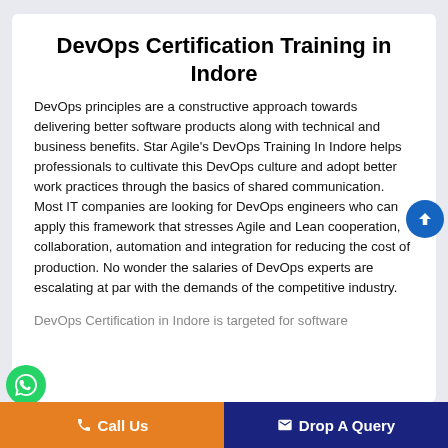DevOps Certification Training in Indore
DevOps principles are a constructive approach towards delivering better software products along with technical and business benefits. Star Agile's DevOps Training In Indore helps professionals to cultivate this DevOps culture and adopt better work practices through the basics of shared communication. Most IT companies are looking for DevOps engineers who can apply this framework that stresses Agile and Lean cooperation, collaboration, automation and integration for reducing the cost of production. No wonder the salaries of DevOps experts are escalating at par with the demands of the competitive industry.
DevOps Certification in Indore is targeted for software...